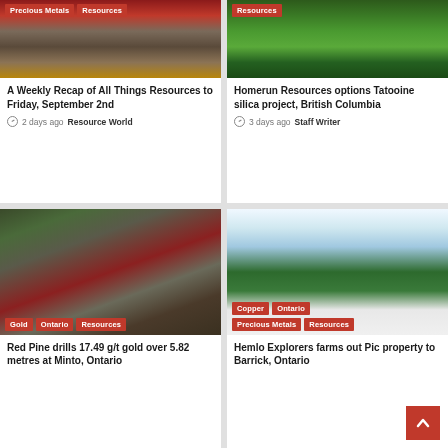[Figure (photo): Aerial/mining scene with red tags for Precious Metals and Resources]
A Weekly Recap of All Things Resources to Friday, September 2nd
2 days ago  Resource World
[Figure (photo): Forest/trees aerial photo with Resources tag]
Homerun Resources options Tatooine silica project, British Columbia
3 days ago  Staff Writer
[Figure (photo): Aerial view of drilling equipment in forest with Gold, Ontario, Resources tags]
Red Pine drills 17.49 g/t gold over 5.82 metres at Minto, Ontario
[Figure (photo): Snowy forest aerial with Copper, Ontario, Precious Metals, Resources tags]
Hemlo Explorers farms out Pic property to Barrick, Ontario